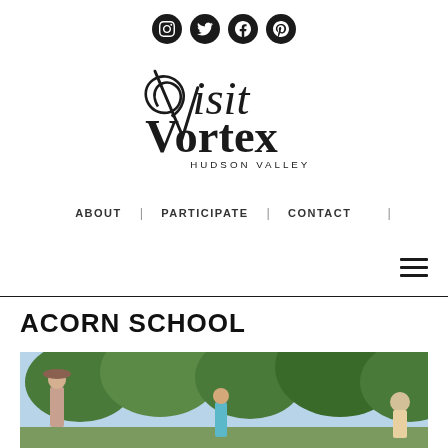[Figure (logo): Social media icons: Instagram, Twitter, Facebook, Pinterest - dark circular buttons]
[Figure (logo): Visit Vortex Hudson Valley logo - decorative spiral V with serif text]
ABOUT | PARTICIPATE | CONTACT |
[Figure (other): Hamburger menu icon (three horizontal lines)]
ACORN SCHOOL
[Figure (photo): Outdoor photo showing people among trees, appears to be a school or camp setting with green foliage and sky visible]